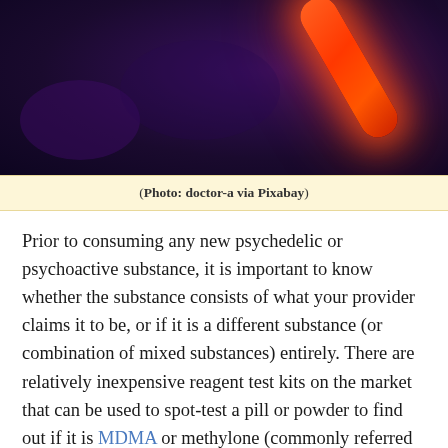[Figure (photo): Dark background photo showing a glowing orange/red glow stick against a deep purple/dark background]
(Photo: doctor-a via Pixabay)
Prior to consuming any new psychedelic or psychoactive substance, it is important to know whether the substance consists of what your provider claims it to be, or if it is a different substance (or combination of mixed substances) entirely. There are relatively inexpensive reagent test kits on the market that can be used to spot-test a pill or powder to find out if it is MDMA or methylone (commonly referred to as “bath salts”), or if a blotter is LSD or a more harmful substance like 25i-NBOMe.
Please note that reagent test kits are only capable